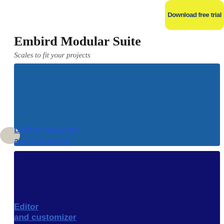[Figure (other): Yellow rounded button with bold dark blue text 'Download free trial']
Embird Modular Suite
Scales to fit your projects
[Figure (other): Blue panel with link text 'Design Manager and convertor']
[Figure (other): Dark navy panel with link text 'Editor and customizer']
[Figure (other): Olive/dark yellow panel (partially visible at bottom)]